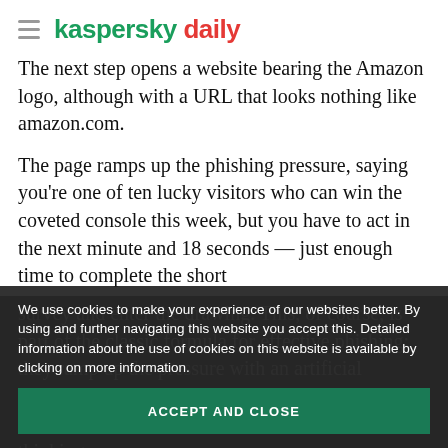kaspersky daily
The next step opens a website bearing the Amazon logo, although with a URL that looks nothing like amazon.com.
The page ramps up the phishing pressure, saying you’re one of ten lucky visitors who can win the coveted console this week, but you have to act in the next minute and 18 seconds — just enough time to complete the short survey and enter the drawing. This, of course, is part of the classic formula for effective phishing: they ramp up the pressure with an artificial time constraint and people will panic and rush into thinking.
We use cookies to make your experience of our websites better. By using and further navigating this website you accept this. Detailed information about the use of cookies on this website is available by clicking on more information.
ACCEPT AND CLOSE